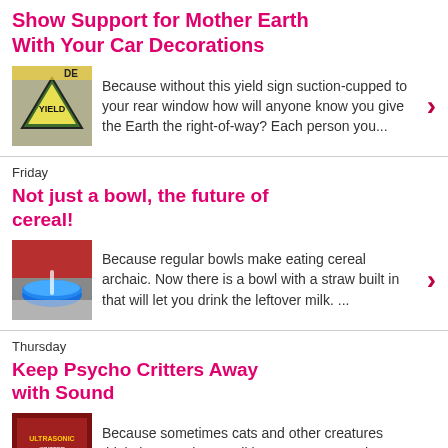Show Support for Mother Earth With Your Car Decorations
[Figure (photo): Yield sign suction-cupped to a car window]
Because without this yield sign suction-cupped to your rear window how will anyone know you give the Earth the right-of-way? Each person you...
Friday
Not just a bowl, the future of cereal!
[Figure (photo): Blue bowl with straw built in]
Because regular bowls make eating cereal archaic. Now there is a bowl with a straw built in that will let you drink the leftover milk. ...
Thursday
Keep Psycho Critters Away with Sound
[Figure (photo): Book or product cover for critter repellent sound device]
Because sometimes cats and other creatures think they can just stroll into your space. Oh no, they